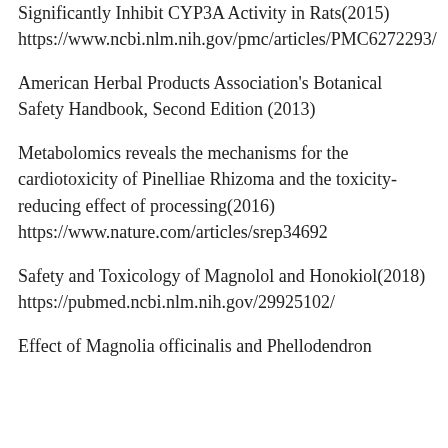Significantly Inhibit CYP3A Activity in Rats(2015) https://www.ncbi.nlm.nih.gov/pmc/articles/PMC6272293/
American Herbal Products Association's Botanical Safety Handbook, Second Edition (2013)
Metabolomics reveals the mechanisms for the cardiotoxicity of Pinelliae Rhizoma and the toxicity-reducing effect of processing(2016) https://www.nature.com/articles/srep34692
Safety and Toxicology of Magnolol and Honokiol(2018) https://pubmed.ncbi.nlm.nih.gov/29925102/
Effect of Magnolia officinalis and Phellodendron